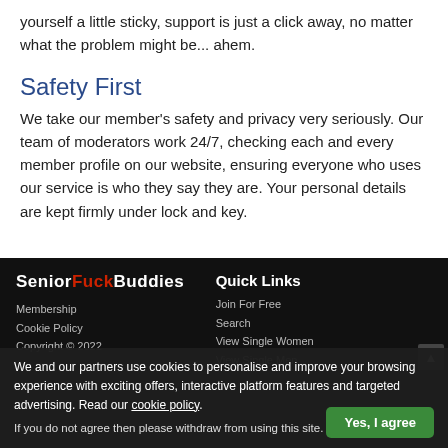yourself a little sticky, support is just a click away, no matter what the problem might be... ahem.
Safety First
We take our member's safety and privacy very seriously. Our team of moderators work 24/7, checking each and every member profile on our website, ensuring everyone who uses our service is who they say they are. Your personal details are kept firmly under lock and key.
SeniorFuckBuddies | Quick Links | Join For Free | Search | View Single Women | Membership | View Single Men | Cookie Policy | Copyright © 2022
We and our partners use cookies to personalise and improve your browsing experience with exciting offers, interactive platform features and targeted advertising. Read our cookie policy. If you do not agree then please withdraw from using this site.